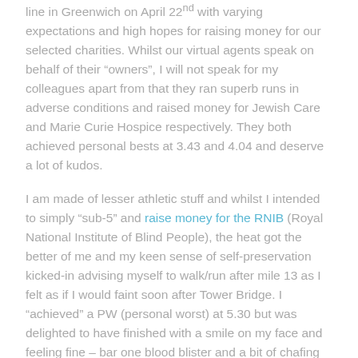line in Greenwich on April 22nd with varying expectations and high hopes for raising money for our selected charities. Whilst our virtual agents speak on behalf of their “owners”, I will not speak for my colleagues apart from that they ran superb runs in adverse conditions and raised money for Jewish Care and Marie Curie Hospice respectively. They both achieved personal bests at 3.43 and 4.04 and deserve a lot of kudos.
I am made of lesser athletic stuff and whilst I intended to simply “sub-5” and raise money for the RNIB (Royal National Institute of Blind People), the heat got the better of me and my keen sense of self-preservation kicked-in advising myself to walk/run after mile 13 as I felt as if I would faint soon after Tower Bridge. I “achieved” a PW (personal worst) at 5.30 but was delighted to have finished with a smile on my face and feeling fine – bar one blood blister and a bit of chafing